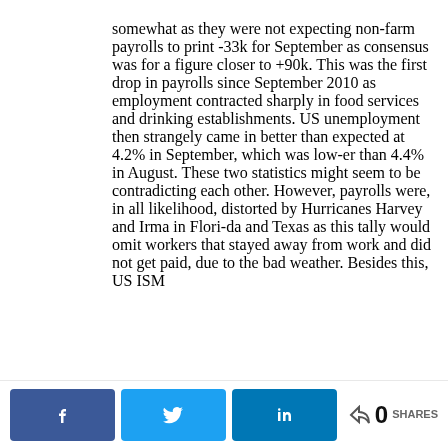somewhat as they were not expecting non-farm payrolls to print -33k for September as consensus was for a figure closer to +90k. This was the first drop in payrolls since September 2010 as employment contracted sharply in food services and drinking establishments. US unemployment then strangely came in better than expected at 4.2% in September, which was low-er than 4.4% in August. These two statistics might seem to be contradicting each other. However, payrolls were, in all likelihood, distorted by Hurricanes Harvey and Irma in Florida and Texas as this tally would omit workers that stayed away from work and did not get paid, due to the bad weather. Besides this, US ISM